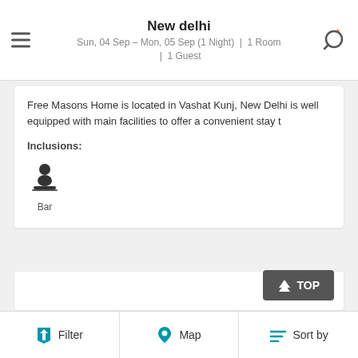New delhi
Sun, 04 Sep – Mon, 05 Sep (1 Night) | 1 Room | 1 Guest
Free Masons Home is located in Vashat Kunj, New Delhi is well equipped with main facilities to offer a convenient stay t
Inclusions:
[Figure (illustration): Bar / lounge amenity icon with a person silhouette at a counter, labeled 'Bar']
[Figure (screenshot): Empty white content card area]
Filter  Map  Sort by